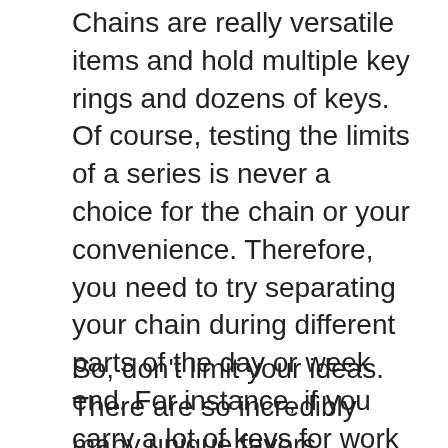Chains are really versatile items and hold multiple key rings and dozens of keys. Of course, testing the limits of a series is never a choice for the chain or your convenience. Therefore, you need to try separating your chain during different parts of the day or week end. For instance, if you carry a lot of keys for work purposes, disconnect function keys on the weekend. Of custom wood keychains , truly put them somewhere safe and a place where talked about how much you uncover them.
So, don't limit your ideas. There are so incredibly many unique favors existing. Do a little browsing and also you're guaranteed to find the perfect right class reunion favors that your classmates will treasure.